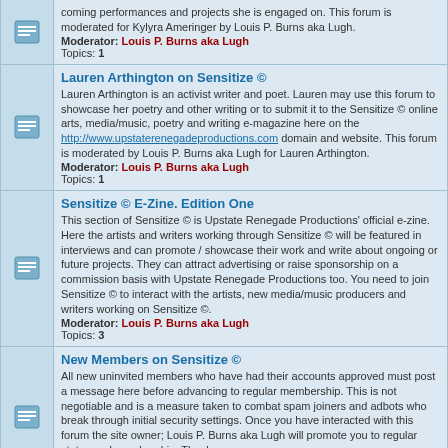coming performances and projects she is engaged on. This forum is moderated for Kylyra Ameringer by Louis P. Burns aka Lugh.
Moderator: Louis P. Burns aka Lugh
Topics: 1
Lauren Arthington on Sensitize ©
Lauren Arthington is an activist writer and poet. Lauren may use this forum to showcase her poetry and other writing or to submit it to the Sensitize © online arts, media/music, poetry and writing e-magazine here on the http://www.upstaterenegadeproductions.com domain and website. This forum is moderated by Louis P. Burns aka Lugh for Lauren Arthington.
Moderator: Louis P. Burns aka Lugh
Topics: 1
Sensitize © E-Zine. Edition One
This section of Sensitize © is Upstate Renegade Productions' official e-zine. Here the artists and writers working through Sensitize © will be featured in interviews and can promote / showcase their work and write about ongoing or future projects. They can attract advertising or raise sponsorship on a commission basis with Upstate Renegade Productions too. You need to join Sensitize © to interact with the artists, new media/music producers and writers working on Sensitize ©.
Moderator: Louis P. Burns aka Lugh
Topics: 3
New Members on Sensitize ©
All new uninvited members who have had their accounts approved must post a message here before advancing to regular membership. This is not negotiable and is a measure taken to combat spam joiners and adbots who break through initial security settings. Once you have interacted with this forum the site owner; Louis P. Burns aka Lugh will promote you to regular status and membership. Thank you...
Moderator: Louis P. Burns aka Lugh
Topics: 2
Active topics
BREKSHAT:a rage poem